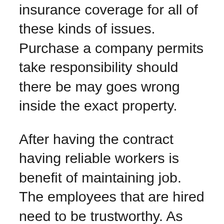insurance coverage for all of these kinds of issues. Purchase a company permits take responsibility should there be may goes wrong inside the exact property.
After having the contract having reliable workers is benefit of maintaining job. The employees that are hired need to be trustworthy. As small three story office building can be cleaned by as low as three construction personnel. Most cleaning crews report at around three o’clock. Some offices want the cleaning to be completed after the regular staff has left for time. Doing a great job will ensure a long contract. If some business owners are impressed with member’s program they receive, there isn’t really need in promoting for your contract. A